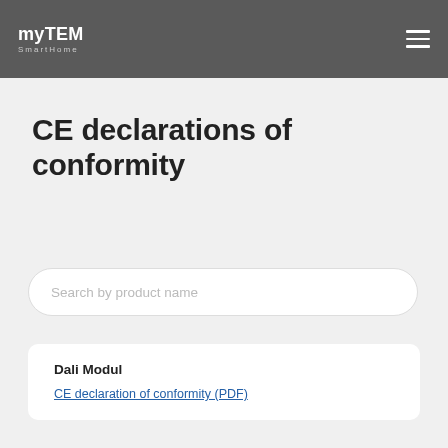myTEM SmartHome
CE declarations of conformity
Search by product name
Dali Modul
CE declaration of conformity (PDF)